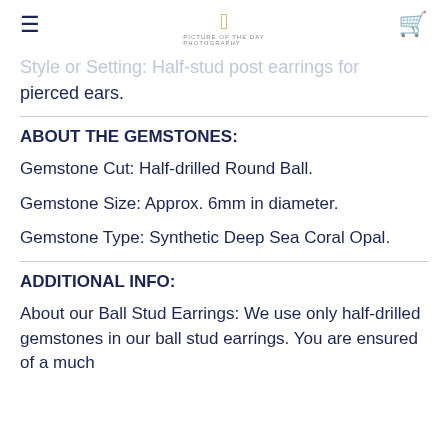M [logo] [hamburger menu] [cart icon]
Style or Setting: Half-stud post earrings for pierced ears.
ABOUT THE GEMSTONES:
Gemstone Cut: Half-drilled Round Ball.
Gemstone Size: Approx. 6mm in diameter.
Gemstone Type: Synthetic Deep Sea Coral Opal.
ADDITIONAL INFO:
About our Ball Stud Earrings: We use only half-drilled gemstones in our ball stud earrings. You are ensured of a much